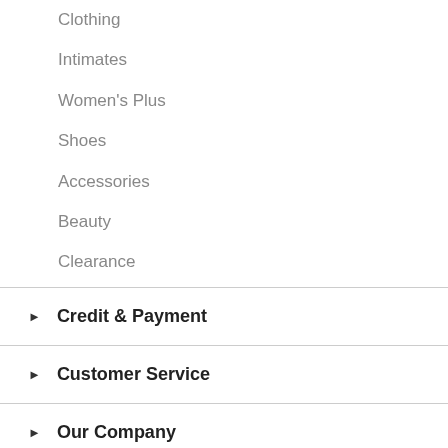Clothing
Intimates
Women's Plus
Shoes
Accessories
Beauty
Clearance
Credit & Payment
Customer Service
Our Company
Stay Connected
[Figure (logo): DigiCert Secured badge]
[Figure (logo): TrustedSite Certified Secure badge]